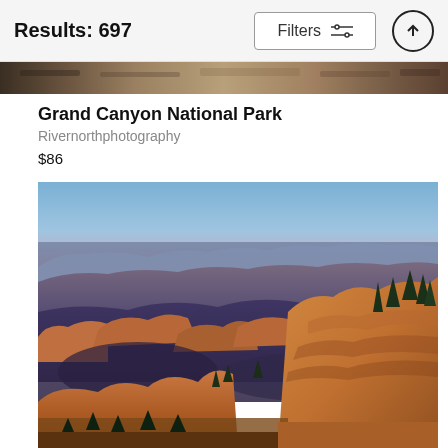Results: 697
[Figure (screenshot): Filters button with sliders icon and up-arrow circle button in header bar]
[Figure (photo): Narrow horizontal strip of a rocky desert/canyon landscape photo]
Grand Canyon National Park
Rivernorthphotography
$86
[Figure (photo): Large landscape photograph of Grand Canyon at sunrise/sunset showing layered red and orange rock formations, deep canyon shadows, blue and pink sky, and pine trees in the foreground right]